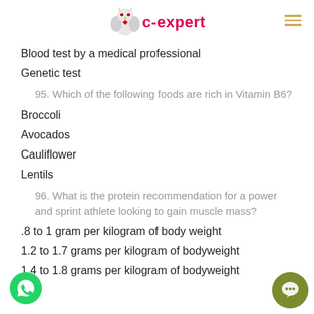[Figure (logo): c-expert logo with stylized owl/robot icon and red brand text, hamburger menu icon top right]
Blood test by a medical professional
Genetic test
95. Which of the following foods are rich in Vitamin B6?
Broccoli
Avocados
Cauliflower
Lentils
96. What is the protein recommendation for a power and sprint athlete looking to gain muscle mass?
.8 to 1 gram per kilogram of body weight
1.2 to 1.7 grams per kilogram of bodyweight
1.4 to 1.8 grams per kilogram of bodyweight